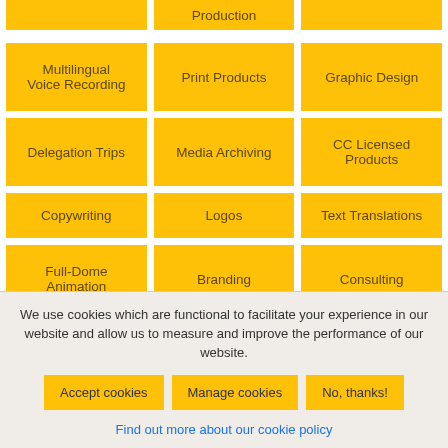Production
Multilingual Voice Recording
Print Products
Graphic Design
Delegation Trips
Media Archiving
CC Licensed Products
Copywriting
Logos
Text Translations
Full-Dome Animation
Branding
Consulting
We use cookies which are functional to facilitate your experience in our website and allow us to measure and improve the performance of our website.
Accept cookies
Manage cookies
No, thanks!
Find out more about our cookie policy